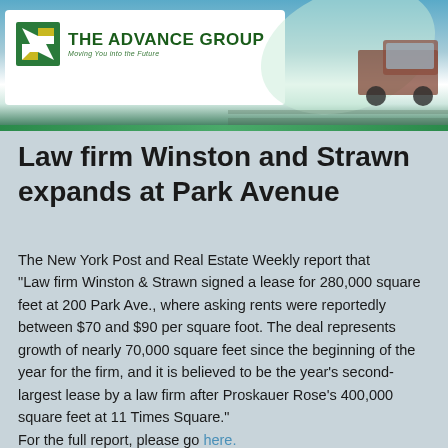[Figure (logo): The Advance Group logo with green arrow/pinwheel icon and tagline 'Moving You into the Future', set against a header banner with sky, road, and truck imagery]
Law firm Winston and Strawn expands at Park Avenue
The New York Post and Real Estate Weekly report that "Law firm Winston & Strawn signed a lease for 280,000 square feet at 200 Park Ave., where asking rents were reportedly between $70 and $90 per square foot. The deal represents growth of nearly 70,000 square feet since the beginning of the year for the firm, and it is believed to be the year's second-largest lease by a law firm after Proskauer Rose's 400,000 square feet at 11 Times Square." For the full report, please go here.